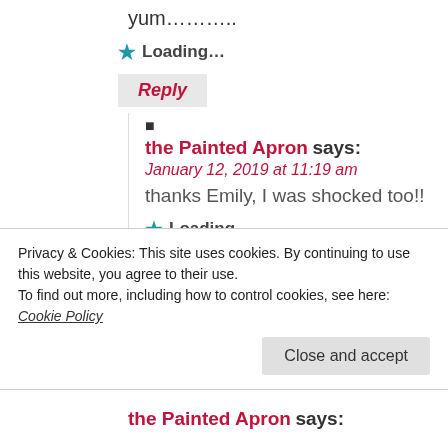yum..........
Loading...
Reply
the Painted Apron says: January 12, 2019 at 11:19 am
thanks Emily, I was shocked too!!
Loading...
Reply
anne says: January 10, 2019 at 3:03 pm
Thank you for sharing the Craftiness that
Privacy & Cookies: This site uses cookies. By continuing to use this website, you agree to their use. To find out more, including how to control cookies, see here: Cookie Policy
Close and accept
the Painted Apron says: